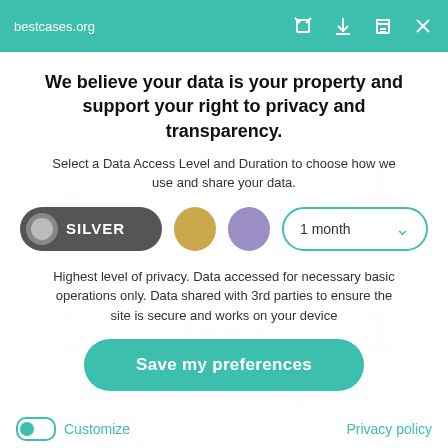Available in various color tones – Teal/Champagne Gold, Lavender/Champagne Gold, Orange Gold
bestcases.org
We believe your data is your property and support your right to privacy and transparency.
Select a Data Access Level and Duration to choose how we use and share your data.
SILVER | 1 month
Highest level of privacy. Data accessed for necessary basic operations only. Data shared with 3rd parties to ensure the site is secure and works on your device
Save my preferences
Customize
Privacy policy